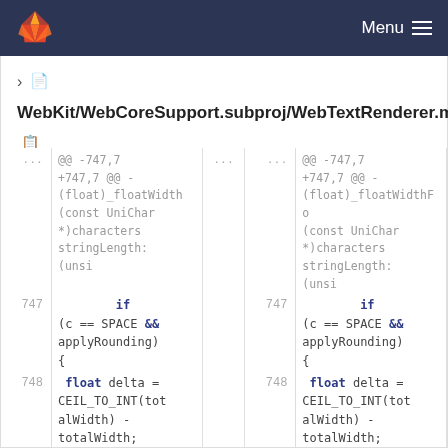GitLab — Menu
WebKit/WebCoreSupport.subproj/WebTextRenderer.m
@@ -747,7 +747,7 @@ - (float)_floatWidth (const UniChar *)characters stringLength: (unsi
747  if (c == SPACE && applyRounding) {
748  float delta = CEIL_TO_INT(totalWidth) - totalWidth;
749